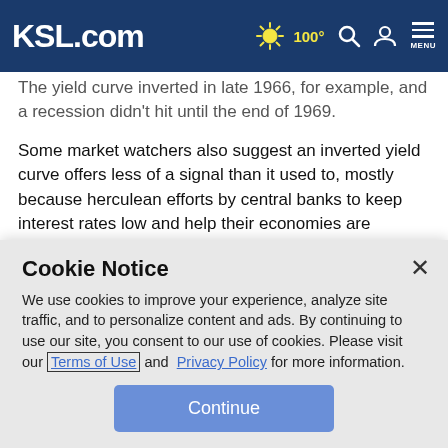KSL.com — 100° [weather icon] [search icon] [user icon] MENU
The yield curve inverted in late 1966, for example, and a recession didn't hit until the end of 1969.
Some market watchers also suggest an inverted yield curve offers less of a signal than it used to, mostly because herculean efforts by central banks to keep interest rates low and help their economies are distorting yields. Bonds in Europe and Japan have been offering negative yields, which
Cookie Notice
We use cookies to improve your experience, analyze site traffic, and to personalize content and ads. By continuing to use our site, you consent to our use of cookies. Please visit our Terms of Use and Privacy Policy for more information.
Continue